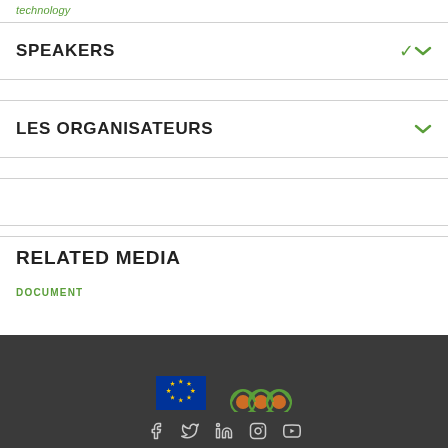technology
SPEAKERS
LES ORGANISATEURS
RELATED MEDIA
DOCUMENT
[Figure (logo): EU flag logo and citrus/orange themed logo, with social media icons: Facebook, Twitter, LinkedIn, Instagram, YouTube]